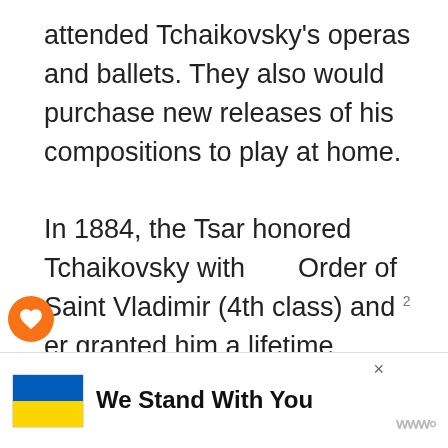attended Tchaikovsky's operas and ballets. They also would purchase new releases of his compositions to play at home.

In 1884, the Tsar honored Tchaikovsky with the Order of Saint Vladimir (4th class) and later granted him a lifetime pension in the 1880s. Tchaikovsky was even gifted an emerald ring from Alexander III.
[Figure (screenshot): UI overlay icons: orange heart button, number '2', share button with arrows icon]
[Figure (screenshot): What's Next widget showing 'Fanny Mendelssoh...' with a circular portrait photo]
[Figure (screenshot): Ad banner at bottom: Ukrainian flag (blue and yellow), bold text 'We Stand With You', close X button, and stylized W logo]